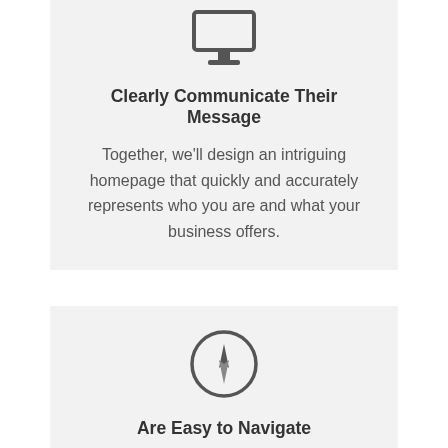[Figure (illustration): Monitor/desktop computer icon in dark gray]
Clearly Communicate Their Message
Together, we'll design an intriguing homepage that quickly and accurately represents who you are and what your business offers.
[Figure (illustration): Compass icon inside a circle in dark gray]
Are Easy to Navigate
We'll organize your site's content in a manner that is intuitive to follow. This helps